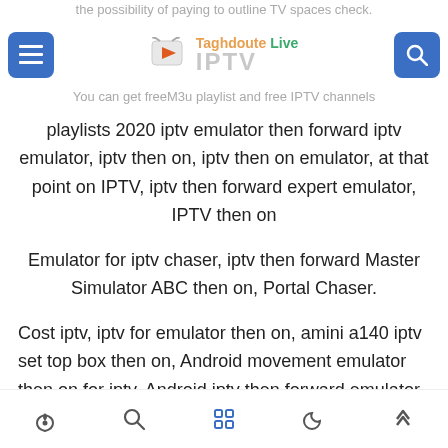Taghdoute Live IPTV — You can get freeM3u playlist and free IPTV channels
playlists 2020 iptv emulator then forward iptv emulator, iptv then on, iptv then on emulator, at that point on IPTV, iptv then forward expert emulator, IPTV then on
Emulator for iptv chaser, iptv then forward Master Simulator ABC then on, Portal Chaser.
Cost iptv, iptv for emulator then on, amini a140 iptv set top box then on, Android movement emulator then on for iptv, Android iptv then forward emulator then on, ec2108v5 ipt
Navigation icons: home, search, apps, dark mode, scroll to top